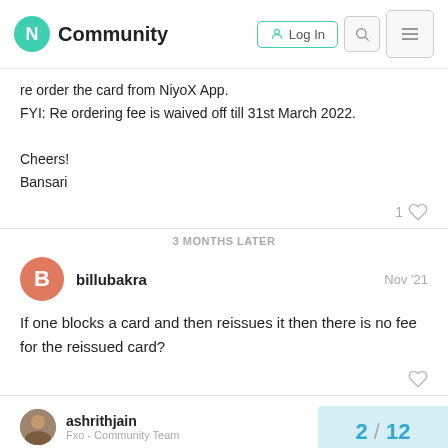N Community | Log In
re order the card from NiyoX App.
FYI: Re ordering fee is waived off till 31st March 2022.

Cheers!
Bansari
3 MONTHS LATER
billubakra  Nov '21
If one blocks a card and then reissues it then there is no fee for the reissued card?
ashrithjain
Fx - Community Team
2 / 12